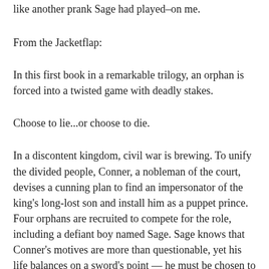like another prank Sage had played–on me.
From the Jacketflap:
In this first book in a remarkable trilogy, an orphan is forced into a twisted game with deadly stakes.
Choose to lie...or choose to die.
In a discontent kingdom, civil war is brewing. To unify the divided people, Conner, a nobleman of the court, devises a cunning plan to find an impersonator of the king's long-lost son and install him as a puppet prince. Four orphans are recruited to compete for the role, including a defiant boy named Sage. Sage knows that Conner's motives are more than questionable, yet his life balances on a sword's point — he must be chosen to play the prince or he will certainly be killed. But Sage's rivals have their own agendas as well.